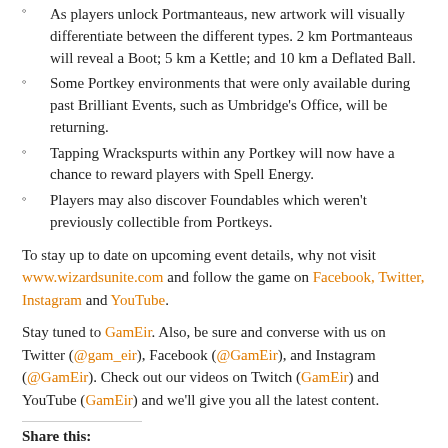As players unlock Portmanteaus, new artwork will visually differentiate between the different types. 2 km Portmanteaus will reveal a Boot; 5 km a Kettle; and 10 km a Deflated Ball.
Some Portkey environments that were only available during past Brilliant Events, such as Umbridge's Office, will be returning.
Tapping Wrackspurts within any Portkey will now have a chance to reward players with Spell Energy.
Players may also discover Foundables which weren't previously collectible from Portkeys.
To stay up to date on upcoming event details, why not visit www.wizardsunite.com and follow the game on Facebook, Twitter, Instagram and YouTube.
Stay tuned to GamEir. Also, be sure and converse with us on Twitter (@gam_eir), Facebook (@GamEir), and Instagram (@GamEir). Check out our videos on Twitch (GamEir) and YouTube (GamEir) and we'll give you all the latest content.
Share this:
Tweet   WhatsApp